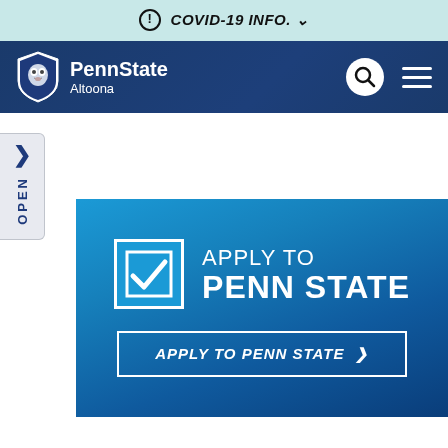COVID-19 INFO. ∨
[Figure (logo): Penn State Altoona logo with lion shield and navigation icons (search, hamburger menu) on navy blue background]
[Figure (screenshot): Website screenshot showing OPEN side tab and Apply to Penn State banner with checkbox icon and apply button]
APPLY TO PENN STATE
APPLY TO PENN STATE >